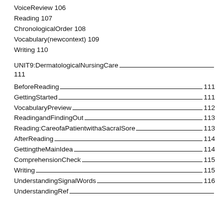VoiceReview 106
Reading 107
ChronologicalOrder 108
Vocabulary(newcontext) 109
Writing 110
UNIT9:DermatologicalNursingCare 111
BeforeReading 111
GettingStarted 111
VocabularyPreview 112
ReadingandFindingOut 113
Reading:CareofaPatientwithaSacralSore 113
AfterReading 114
GettingtheMainIdea 114
ComprehensionCheck 115
Writing 115
UnderstandingSignalWords 116
UnderstandingRef...